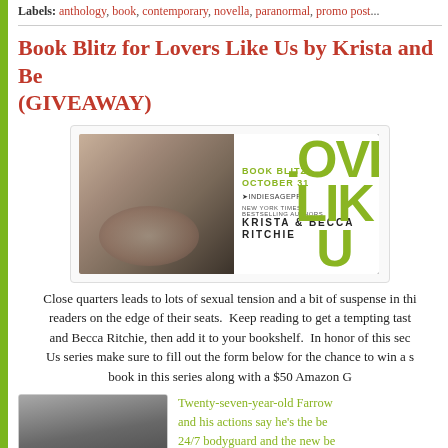Labels: anthology, book, contemporary, novella, paranormal, promo post
Book Blitz for Lovers Like Us by Krista and Becca Ritchie (GIVEAWAY)
[Figure (photo): Book blitz promotional banner for Lovers Like Us by Krista & Becca Ritchie (New York Times Bestselling Authors), showing a tattooed man and text: BOOK BLITZ OCTOBER 31, INDIESAGEPR, with green large text LOVERS LIKE US on the right.]
Close quarters leads to lots of sexual tension and a bit of suspense in this novel that keeps readers on the edge of their seats. Keep reading to get a tempting taste of Lovers Like Us by Krista and Becca Ritchie, then add it to your bookshelf. In honor of this second book in the Lovers Like Us series make sure to fill out the form below for the chance to win a signed copy of every book in this series along with a $50 Amazon G
[Figure (photo): Book cover of Lovers Like Us showing a man and the title in white and green text.]
Twenty-seven-year-old Farrow and his actions say he's the best 24/7 bodyguard and the new be protecting the headstrong, alph